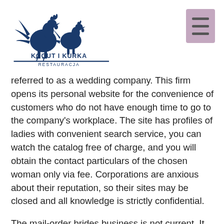Kogut i Kurka Restauracja (logo and navigation)
referred to as a wedding company. This firm opens its personal website for the convenience of customers who do not have enough time to go to the company’s workplace. The site has profiles of ladies with convenient search service, you can watch the catalog free of charge, and you will obtain the contact particulars of the chosen woman only via fee. Corporations are anxious about their reputation, so their sites may be closed and all knowledge is strictly confidential.
The mail-order brides business is not current. It has identified a brand new beginning with Internet but it surely already existed earlier than, with the concept of picture brides”. International marriage companies used to have paper catalogues itemizing the brides-to-be. This process took its name by Buy A Wife the concept the marriage was preceded by an change of pictures of the future spouse and future husband, with the intention to